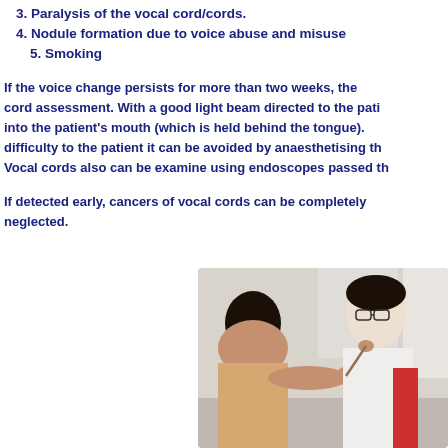3. Paralysis of the vocal cord/cords.
4. Nodule formation due to voice abuse and misuse
5. Smoking
If the voice change persists for more than two weeks, the cord assessment. With a good light beam directed to the pati into the patient's mouth (which is held behind the tongue). difficulty to the patient it can be avoided by anaesthetising th
Vocal cords also can be examine using endoscopes passed th
If detected early, cancers of vocal cords can be completely neglected.
[Figure (photo): A medical professional or doctor examining a patient's mouth/throat, with the patient seated and the examiner using an instrument to look into the patient's mouth.]